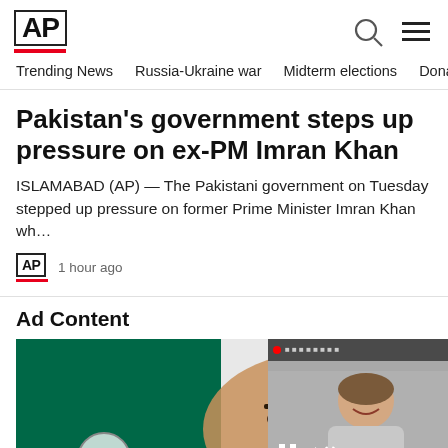[Figure (logo): AP (Associated Press) logo in black bold text with red underline bar]
Trending News · Russia-Ukraine war · Midterm elections · Dona
Pakistan's government steps up pressure on ex-PM Imran Khan
ISLAMABAD (AP) — The Pakistani government on Tuesday stepped up pressure on former Prime Minister Imran Khan wh…
1 hour ago
Ad Content
[Figure (photo): Woman's face painted with Mexican flag colors and eagle emblem]
[Figure (screenshot): Video overlay showing a woman smiling, with pause and mute icons and caption: DeSantis rival to emerge fromhigh-stakes F...]